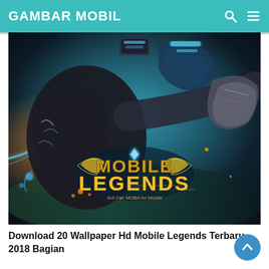GAMBAR MOBIL
[Figure (screenshot): Mobile Legends game wallpaper showing an armored character with glowing blue energy effects and the Mobile Legends logo in the center-bottom of the image.]
Download 20 Wallpaper Hd Mobile Legends Terbaru 2018 Bagian